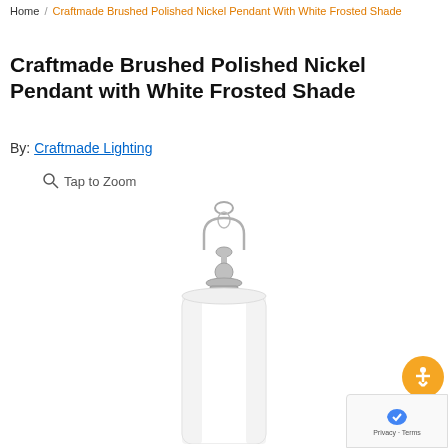Home / Craftmade Brushed Polished Nickel Pendant With White Frosted Shade
Craftmade Brushed Polished Nickel Pendant with White Frosted Shade
By: Craftmade Lighting
Tap to Zoom
[Figure (photo): Craftmade brushed polished nickel pendant light with white frosted cylindrical glass shade, shown hanging from a nickel canopy with decorative arch and ball accents]